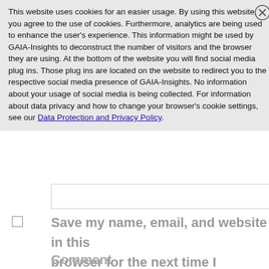This website uses cookies for an easier usage. By using this website, you agree to the use of cookies. Furthermore, analytics are being used to enhance the user's experience. This information might be used by GAIA-Insights to deconstruct the number of visitors and the browser they are using. At the bottom of the website you will find social media plug ins. Those plug ins are located on the website to redirect you to the respective social media presence of GAIA-Insights. No information about your usage of social media is being collected. For information about data privacy and how to change your browser's cookie settings, see our Data Protection and Privacy Policy.
Save my name, email, and website in this browser for the next time I comment.
Comment